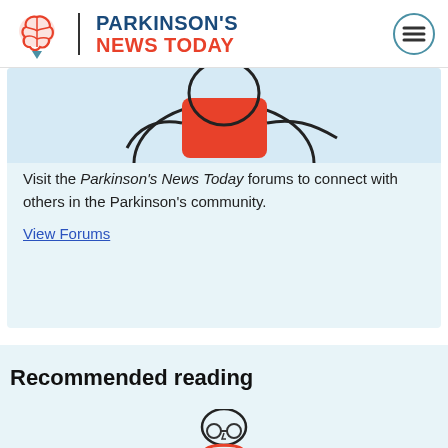Parkinson's News Today
[Figure (illustration): Partial illustration of a character at top of forum card]
Visit the Parkinson's News Today forums to connect with others in the Parkinson's community.
View Forums
Recommended reading
[Figure (illustration): Partial illustration of a person with glasses at bottom of page]